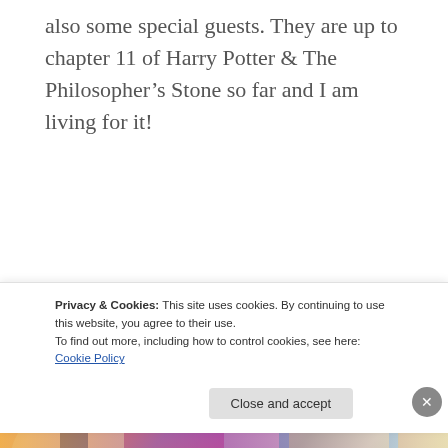also some special guests. They are up to chapter 11 of Harry Potter & The Philosopher’s Stone so far and I am living for it!
[Figure (photo): Two side-by-side photos: left shows a flat-lay with a round tray, blue bottle, and a colorful pink/purple book; right shows pink background with a teal book cover featuring a green illustrated face and 'Martin Gayford' text, plus yellow confetti shapes]
Privacy & Cookies: This site uses cookies. By continuing to use this website, you agree to their use.
To find out more, including how to control cookies, see here: Cookie Policy
Close and accept